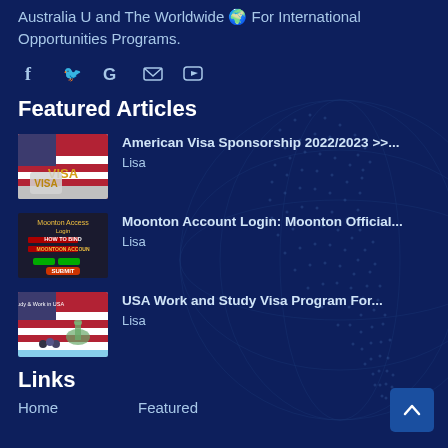Australia and The Worldwide For International Opportunities Programs.
[Figure (illustration): Social media icons: Facebook (f), Twitter (bird), Google (G), Email (envelope), YouTube (play button)]
Featured Articles
[Figure (photo): Thumbnail image of a US flag and a VISA stamp/card]
American Visa Sponsorship 2022/2023 >>...
Lisa
[Figure (screenshot): Thumbnail showing 'HOW TO BIND MOONTOON ACCOUNT' with Moonton Access Login interface]
Moonton Account Login: Moonton Official...
Lisa
[Figure (photo): Thumbnail showing Study & Work in USA with Statue of Liberty and US flag]
USA Work and Study Visa Program For...
Lisa
Links
Home
Featured